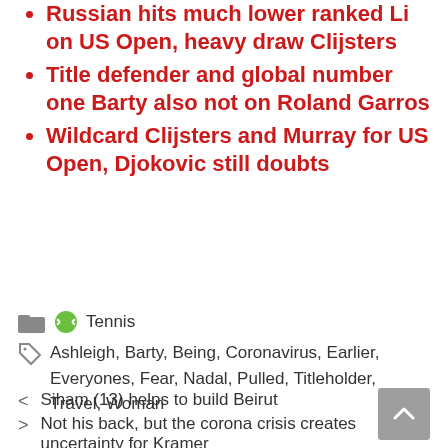Russian hits much lower ranked Li on US Open, heavy draw Clijsters
Title defender and global number one Barty also not on Roland Garros
Wildcard Clijsters and Murray for US Open, Djokovic still doubts
Tennis
Ashleigh, Barty, Being, Coronavirus, Earlier, Everyones, Fear, Nadal, Pulled, Titleholder, Travel, Woman
< Siham (13) helps to build Beirut
> Not his back, but the corona crisis creates uncertainty for Kramer